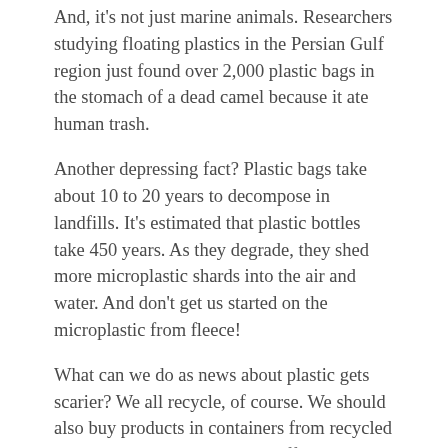And, it's not just marine animals. Researchers studying floating plastics in the Persian Gulf region just found over 2,000 plastic bags in the stomach of a dead camel because it ate human trash.
Another depressing fact? Plastic bags take about 10 to 20 years to decompose in landfills. It's estimated that plastic bottles take 450 years. As they degrade, they shed more microplastic shards into the air and water. And don't get us started on the microplastic from fleece!
What can we do as news about plastic gets scarier? We all recycle, of course. We should also buy products in containers from recycled plastic. But, to really make a difference, we need to support investment in better recycling technology, recyclable alternative packaging, and assure recycling is easy, accessible to all, and cheap. As one newsperson wrote, “Like perms, gaucho pants, and bump-it clips, plastics appear to be trending